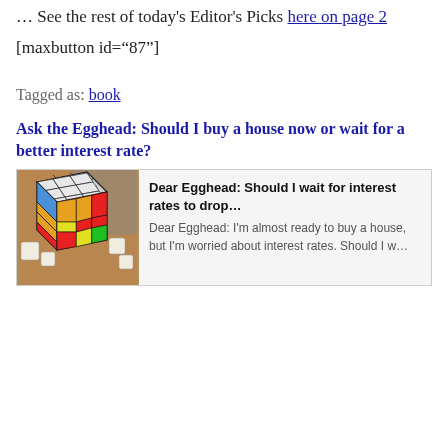… See the rest of today's Editor's Picks here on page 2
[maxbutton id="87"]
Tagged as: book
Ask the Egghead: Should I buy a house now or wait for a better interest rate?
[Figure (screenshot): Article preview card with a Rubik's cube image on the left and text on the right reading 'Dear Egghead: Should I wait for interest rates to drop...' with body text 'Dear Egghead: I'm almost ready to buy a house, but I'm worried about interest rates. Should I w...']